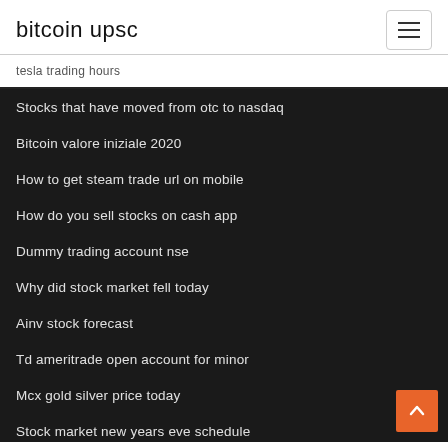bitcoin upsc
tesla trading hours
Stocks that have moved from otc to nasdaq
Bitcoin valore iniziale 2020
How to get steam trade url on mobile
How do you sell stocks on cash app
Dummy trading account nse
Why did stock market fell today
Ainv stock forecast
Td ameritrade open account for minor
Mcx gold silver price today
Stock market new years eve schedule